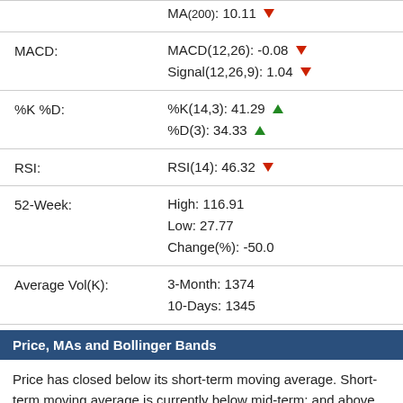| Indicator | Value |
| --- | --- |
| MACD: | MACD(12,26): -0.08 ▼
Signal(12,26,9): 1.04 ▼ |
| %K %D: | %K(14,3): 41.29 ▲
%D(3): 34.33 ▲ |
| RSI: | RSI(14): 46.32 ▼ |
| 52-Week: | High: 116.91
Low: 27.77
Change(%): -50.0 |
| Average Vol(K): | 3-Month: 1374
10-Days: 1345 |
Price, MAs and Bollinger Bands
Price has closed below its short-term moving average. Short-term moving average is currently below mid-term; and above long-term moving average. From the relationship between price and moving averages: This stock is BEARISH in short-term; and NEUTRAL in